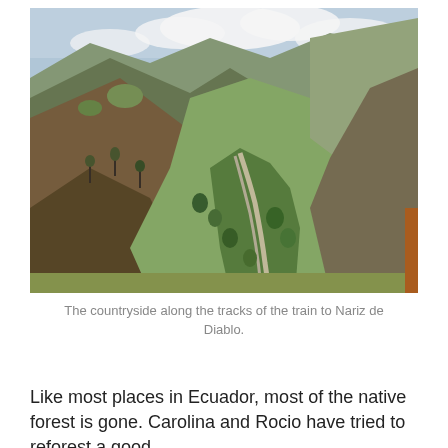[Figure (photo): Aerial/elevated view of a winding road through a deep Andean valley with brown and green hillsides, rocky cliffs, and vegetation below, photographed from a train. Blue sky with clouds above.]
The countryside along the tracks of the train to Nariz de Diablo.
Like most places in Ecuador, most of the native forest is gone. Carolina and Rocio have tried to reforest a good